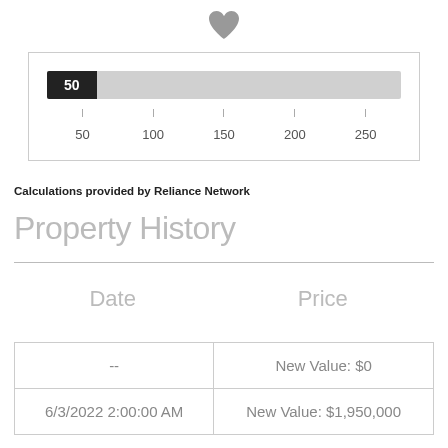[Figure (infographic): Heart/favorite icon in gray at top center]
[Figure (infographic): Horizontal gauge/slider bar showing value 50 on a scale from 50 to 250, with black filled section at left labeled '50' and gray track extending to right]
Calculations provided by Reliance Network
Property History
| Date | Price |
| --- | --- |
| -- | New Value: $0 |
| 6/3/2022 2:00:00 AM | New Value: $1,950,000 |